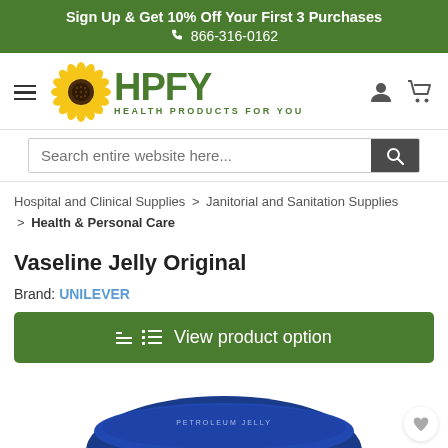Sign Up & Get 10% Off Your First 3 Purchases
☎ 866-316-0162
[Figure (logo): HPFY Health Products For You logo with sunflower icon]
Search entire website here...
Hospital and Clinical Supplies > Janitorial and Sanitation Supplies > Health & Personal Care
Vaseline Jelly Original
Brand: UNILEVER
View product option
[Figure (photo): Vaseline Jelly Original product image - blue lid partially visible at bottom of page]